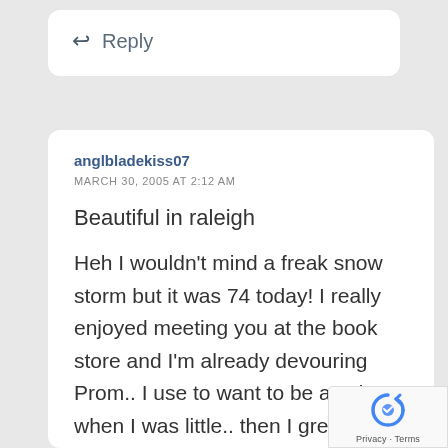↩ Reply
anglbladekiss07
MARCH 30, 2005 AT 2:12 AM
Beautiful in raleigh
Heh I wouldn't mind a freak snow storm but it was 74 today! I really enjoyed meeting you at the book store and I'm already devouring Prom.. I use to want to be a writer when I was little.. then I grew up